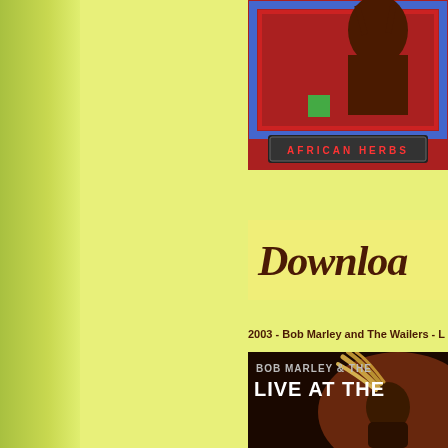[Figure (photo): Album cover with red background showing a figure, with 'AFRICAN HERBS' text at bottom on dark banner]
[Figure (screenshot): Decorative cursive 'Download' text in dark brown/maroon color on yellow background]
2003 - Bob Marley and The Wailers - L
[Figure (photo): Bob Marley & The Wailers 'Live At The...' album cover with concert photo of Bob Marley performing with dreadlocks flying]